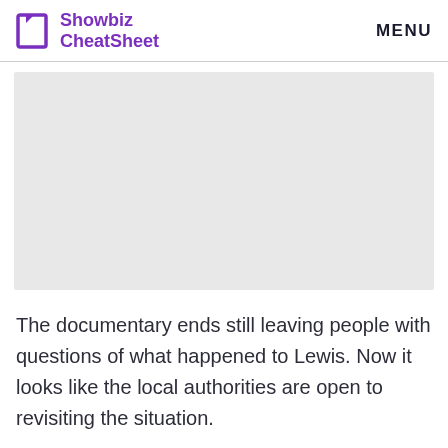Showbiz CheatSheet | MENU
[Figure (photo): Gray placeholder image area]
The documentary ends still leaving people with questions of what happened to Lewis. Now it looks like the local authorities are open to revisiting the situation.